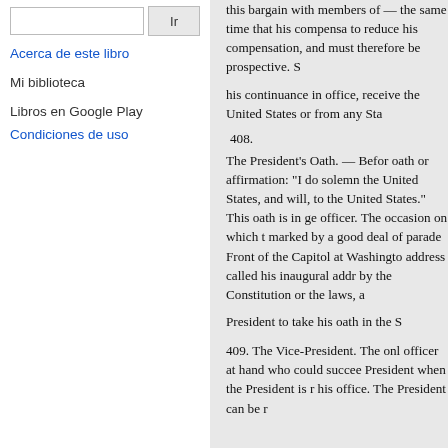[search input box]
Ir
Acerca de este libro
Mi biblioteca
Libros en Google Play
Condiciones de uso
this bargain with members of — the same time that his compensation to reduce his compensation, and must therefore be prospective. S...
his continuance in office, receive the United States or from any St...
408.
The President's Oath. — Before oath or affirmation: "I do solemn the United States, and will, to the United States." This oath is in ge officer. The occasion on which t marked by a good deal of parade Front of the Capitol at Washingto address called his inaugural addr by the Constitution or the laws, a
President to take his oath in the S
409. The Vice-President. The onl officer at hand who could succee President when the President is r his office. The President can be r